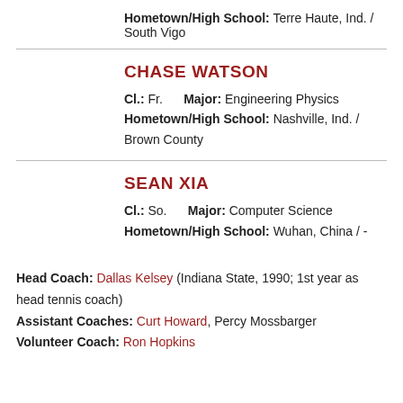Hometown/High School: Terre Haute, Ind. / South Vigo
CHASE WATSON
Cl.: Fr.   Major: Engineering Physics
Hometown/High School: Nashville, Ind. / Brown County
SEAN XIA
Cl.: So.   Major: Computer Science
Hometown/High School: Wuhan, China / -
Head Coach: Dallas Kelsey (Indiana State, 1990; 1st year as head tennis coach)
Assistant Coaches: Curt Howard, Percy Mossbarger
Volunteer Coach: Ron Hopkins